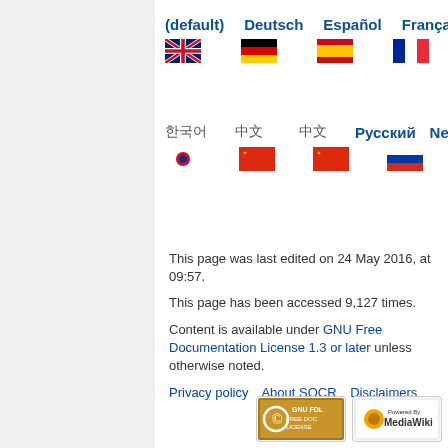(default)  Deutsch  Español  Français  It...
[Figure (illustration): Flags for UK, Germany, Spain, France shown in a row]
한국어  中文  中文  Русский  Ne...
[Figure (illustration): Flags for South Korea, China (x2), Russia shown in a row]
This page was last edited on 24 May 2016, at 09:57.
This page has been accessed 9,127 times.
Content is available under GNU Free Documentation License 1.3 or later unless otherwise noted.
Privacy policy   About SOCR   Disclaimers